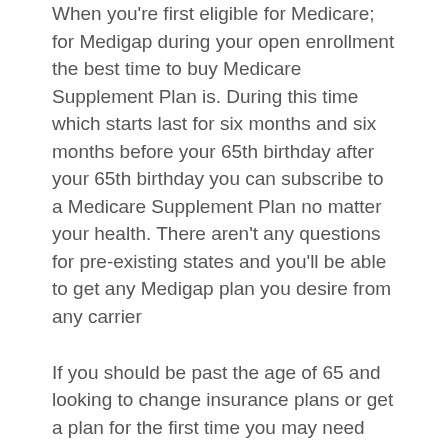When you're first eligible for Medicare; for Medigap during your open enrollment the best time to buy Medicare Supplement Plan is. During this time which starts last for six months and six months before your 65th birthday after your 65th birthday you can subscribe to a Medicare Supplement Plan no matter your health. There aren't any questions for pre-existing states and you'll be able to get any Medigap plan you desire from any carrier
If you should be past the age of 65 and looking to change insurance plans or get a plan for the first time you may need certainly to answer some basic health questions to qualify. Most folks and qualify so you should still have the ability to get a plan.
Give us a call at 877-720-5943 or compare rates online to receive the best rates for Medicare